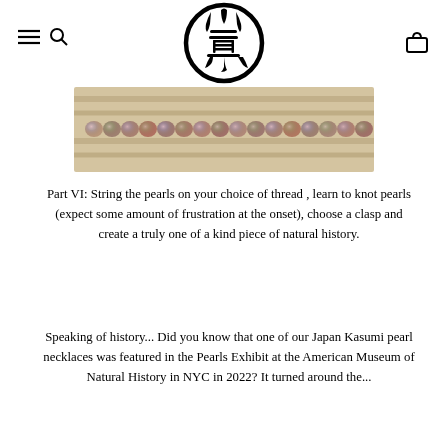[Figure (logo): Japanese circular logo/stamp (hanko) with kanji characters inside a circle, black on white]
[Figure (photo): A horizontal strand of baroque Kasumi pearls with pink/purple/green iridescent colors resting on a wooden surface]
Part VI: String the pearls on your choice of thread , learn to knot pearls (expect some amount of frustration at the onset), choose a clasp and create a truly one of a kind piece of natural history.
Speaking of history... Did you know that one of our Japan Kasumi pearl necklaces was featured in the Pearls Exhibit at the American Museum of Natural History in NYC in 2022? It turned around the...